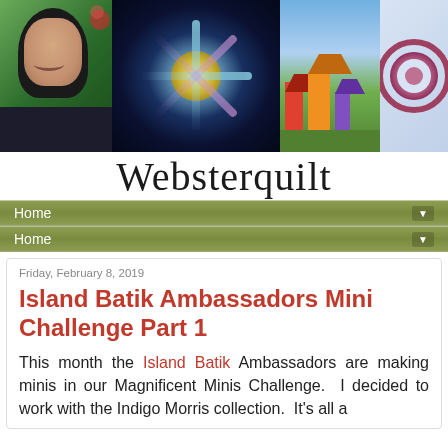[Figure (photo): Blog header banner with portrait photo on left and quilting pattern photos, followed by the blog name 'Websterquilt' in cursive script]
Home ▼
Home ▼
Friday, February 8, 2019
Island Batik Ambassadors Mini Challenge Part 1
This month the Island Batik Ambassadors are making minis in our Magnificent Minis Challenge.  I decided to work with the Indigo Morris collection.  It's all a